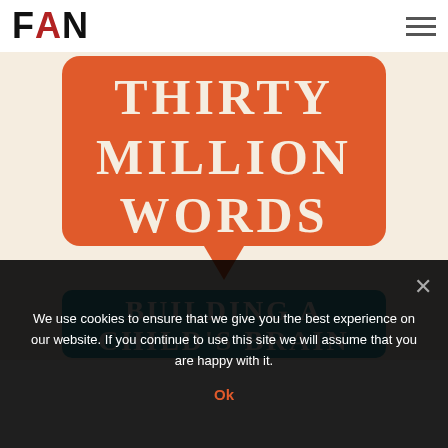FAN
[Figure (illustration): Book cover of 'Thirty Million Words: Building a Child's Brain'. Shows an orange speech bubble with bold cream text 'THIRTY MILLION WORDS' and a teal rectangle below with bold white text 'BUILDING A CHILD'S BRAIN', on a cream/beige background.]
We use cookies to ensure that we give you the best experience on our website. If you continue to use this site we will assume that you are happy with it.
Ok